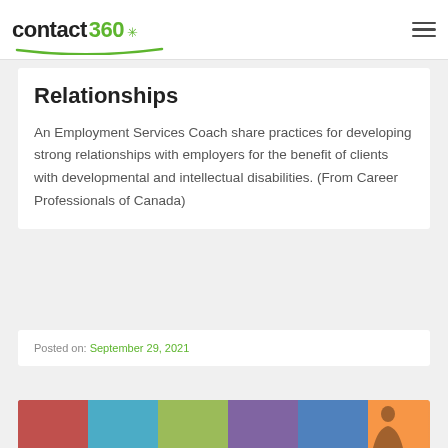contact 360
Relationships
An Employment Services Coach share practices for developing strong relationships with employers for the benefit of clients with developmental and intellectual disabilities. (From Career Professionals of Canada)
Posted on: September 29, 2021
[Figure (photo): Colorful background image strip with person silhouette]